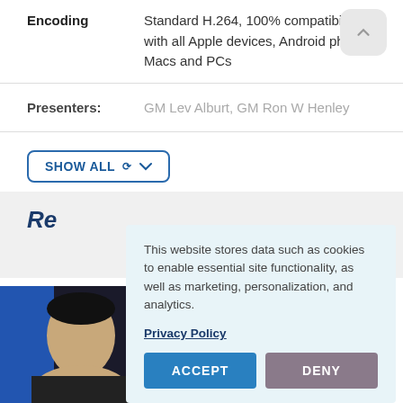Encoding: Standard H.264, 100% compatibility with all Apple devices, Android phones, Macs and PCs
Presenters: GM Lev Alburt, GM Ron W Henley
SHOW ALL
Re[cently]
[Figure (photo): Partial view of a person's face against a blue background]
This website stores data such as cookies to enable essential site functionality, as well as marketing, personalization, and analytics.
Privacy Policy
ACCEPT
DENY